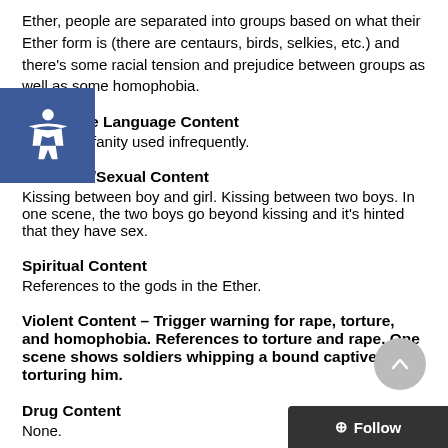Ether, people are separated into groups based on what their Ether form is (there are centaurs, birds, selkies, etc.) and there's some racial tension and prejudice between groups as well as some homophobia.
Profanity/Crude Language Content
Strong profanity used infrequently.
Romance/Sexual Content
Kissing between boy and girl. Kissing between two boys. In one scene, the two boys go beyond kissing and it's hinted that they have sex.
Spiritual Content
References to the gods in the Ether.
Violent Content
– Trigger warning for rape, torture, and homophobia. References to torture and rape. One scene shows soldiers whipping a bound captive, torturing him.
Drug Content
None.
Note: I received a free copy of FAYE AND THE ETHER in exc